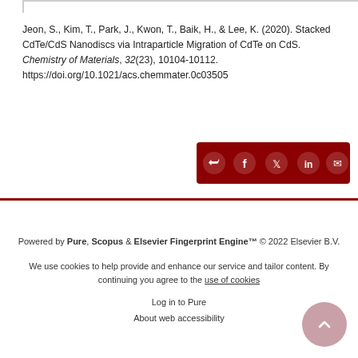Jeon, S., Kim, T., Park, J., Kwon, T., Baik, H., & Lee, K. (2020). Stacked CdTe/CdS Nanodiscs via Intraparticle Migration of CdTe on CdS. Chemistry of Materials, 32(23), 10104-10112. https://doi.org/10.1021/acs.chemmater.0c03505
[Figure (other): Dark red share bar with share icon and social media icons: Facebook, Twitter, LinkedIn, Email]
Powered by Pure, Scopus & Elsevier Fingerprint Engine™ © 2022 Elsevier B.V.
We use cookies to help provide and enhance our service and tailor content. By continuing you agree to the use of cookies
Log in to Pure
About web accessibility